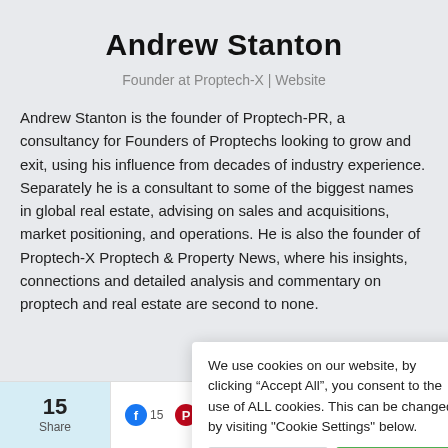Andrew Stanton
Founder at Proptech-X | Website
Andrew Stanton is the founder of Proptech-PR, a consultancy for Founders of Proptechs looking to grow and exit, using his influence from decades of industry experience. Separately he is a consultant to some of the biggest names in global real estate, advising on sales and acquisitions, market positioning, and operations. He is also the founder of Proptech-X Proptech & Property News, where his insights, connections and detailed analysis and commentary on proptech and real estate are second to none.
We use cookies on our website, by clicking “Accept All”, you consent to the use of ALL cookies. This can be changed by visiting "Cookie Settings" below.
15 Share